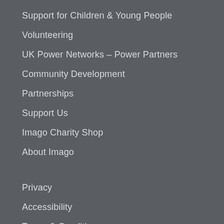Support for Children & Young People
Volunteering
UK Power Networks – Power Partners
Community Development
Partnerships
Support Us
Imago Charity Shop
About Imago
Privacy
Accessibility
Terms & Conditions
Recruitment
Sitemap
Locations Map